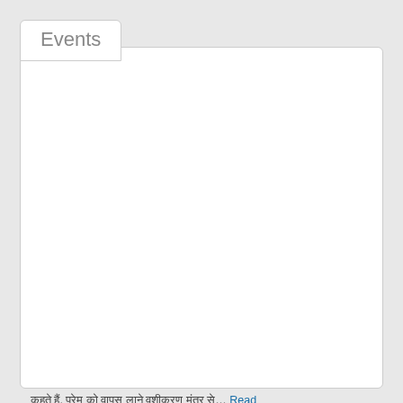Events
August 2022 | October 2022 | Recently Disc▾
+91-9958802839 Vashikaran Mantra To Remove Black Magic in Canberra
Categories: Education
Add to Favorites
05/11/2021
Canberra
Canberra
+91-9958802839  Description: यो वशीकरण मंत्र को लाल किताब वशीकरण भी कहते हैं, प्रेम को वापस लाने वशीकरण मंत्र से… Read more...